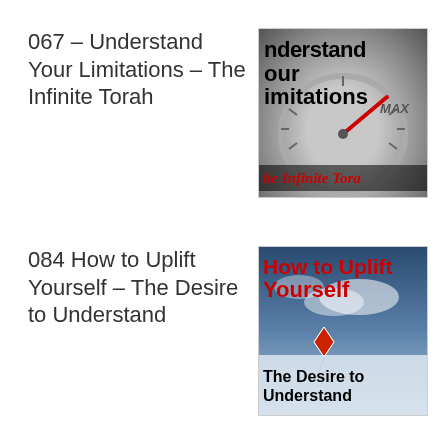067 – Understand Your Limitations – The Infinite Torah
[Figure (illustration): Book/podcast cover image showing a car gauge dial at MAX with overlaid text 'Understand Your Limitations – The Infinite Torah' in black and red italic text on grey gauge background.]
084 How to Uplift Yourself – The Desire to Understand
[Figure (illustration): Book/podcast cover image with sky and clouds background showing 'How to Uplift Yourself' in red bold text and 'The Desire to Understand' in black bold text, with a small kite illustration.]